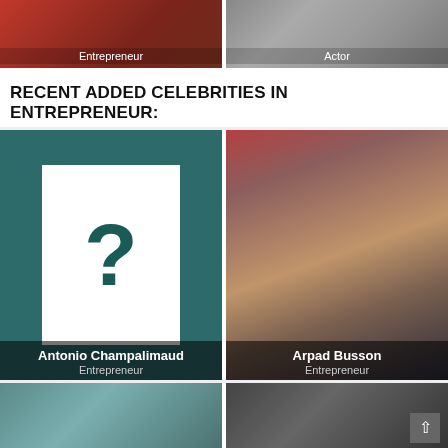[Figure (photo): Top row showing two celebrity photos: left photo shows a woman (Entrepreneur) with red/brown tones, right photo shows a man (Actor) in formal wear]
RECENT ADDED CELEBRITIES IN ENTREPRENEUR:
[Figure (photo): Antonio Champalimaud - placeholder image with question mark on teal background, labeled Entrepreneur]
[Figure (photo): Arpad Busson - photo of man in dark suit against red background, labeled Entrepreneur]
[Figure (photo): Bottom row showing two more celebrity photos partially visible]